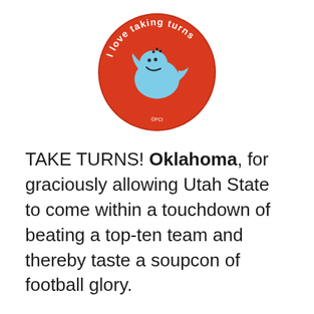[Figure (illustration): A round red sticker with white text reading 'I love taking turns' around the border, featuring a smiling blue cartoon whale/seal character in the center.]
TAKE TURNS! Oklahoma, for graciously allowing Utah State to come within a touchdown of beating a top-ten team and thereby taste a soupcon of football glory.